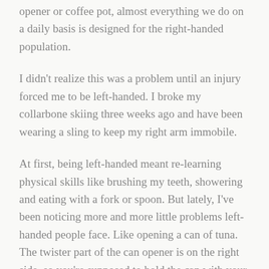opener or coffee pot, almost everything we do on a daily basis is designed for the right-handed population.
I didn't realize this was a problem until an injury forced me to be left-handed. I broke my collarbone skiing three weeks ago and have been wearing a sling to keep my right arm immobile.
At first, being left-handed meant re-learning physical skills like brushing my teeth, showering and eating with a fork or spoon. But lately, I've been noticing more and more little problems left-handed people face. Like opening a can of tuna. The twister part of the can opener is on the right side, so you're supposed to hold the can with your left hand